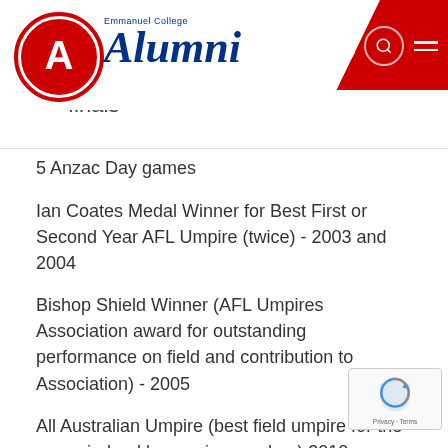Emmanuel College Alumni
finals
5 Anzac Day games
Ian Coates Medal Winner for Best First or Second Year AFL Umpire (twice) - 2003 and 2004
Bishop Shield Winner (AFL Umpires Association award for outstanding performance on field and contribution to Association) - 2005
All Australian Umpire (best field umpire for the year - judged by umpire coaches) 2010
Member of the AFL umpires leadership group from 2006 until 2011.